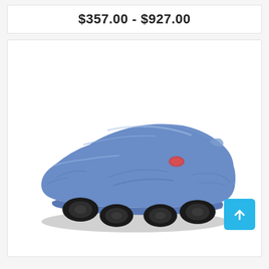$357.00 - $927.00
[Figure (photo): A car fully covered with a blue fabric car cover, showing tires and a small red logo on the side. A cyan/blue scroll-to-top button with an upward arrow is overlaid in the bottom-right area.]